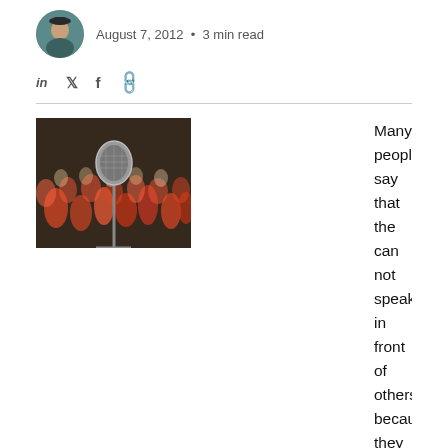August 7, 2012 • 3 min read
[Figure (photo): Microphone in foreground with an audience in background]
Many people say that the can not speak in front of others because they are too nervous-being nervous is not a bad thing. We connect being nervous with something negative because we were nervous when we were in a bad situation. Standing in the Principals office for instance is a time when I was nervous.
Use your nervous energy to fuel your fire. It helps to see yourself in front of an audience giving a presentation and doing well. Picture them laughing at your jokes agreeing with your statements and being moved at the